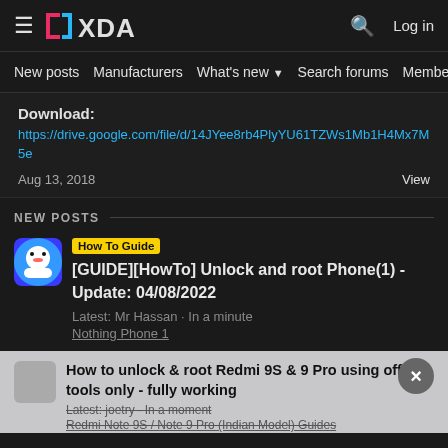XDA Forums — Log in
New posts | Manufacturers | What's new | Search forums | Members >
Download:
https://drive.google.com/file/d/14JYee8rb4PlyYU61TZWs1Mb1H4Mx7M5e
Aug 13, 2018    View
NEW POSTS
[How To Guide] [GUIDE][HowTo] Unlock and root Phone(1) - Update: 04/08/2022
Latest: Mr Hassan · In a minute
Nothing Phone 1
How to unlock & root Redmi 9S & 9 Pro using official tools only - fully working
Latest: joetry · In a moment
Redmi Note 9S / Note 9 Pro (Indian Model) Guides